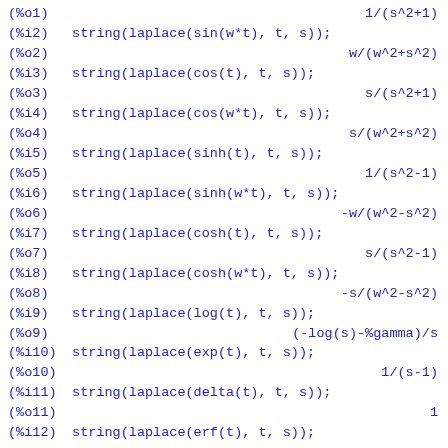(%o1)                                    1/(s^2+1)
(%i2) string(laplace(sin(w*t), t, s));
(%o2)                                    w/(w^2+s^2)
(%i3) string(laplace(cos(t), t, s));
(%o3)                                    s/(s^2+1)
(%i4) string(laplace(cos(w*t), t, s));
(%o4)                                    s/(w^2+s^2)
(%i5) string(laplace(sinh(t), t, s));
(%o5)                                    1/(s^2-1)
(%i6) string(laplace(sinh(w*t), t, s));
(%o6)                                    -w/(w^2-s^2)
(%i7) string(laplace(cosh(t), t, s));
(%o7)                                    s/(s^2-1)
(%i8) string(laplace(cosh(w*t), t, s));
(%o8)                                    -s/(w^2-s^2)
(%i9) string(laplace(log(t), t, s));
(%o9)                                    (-log(s)-%gamma)/s
(%i10) string(laplace(exp(t), t, s));
(%o10)                                   1/(s-1)
(%i11) string(laplace(delta(t), t, s));
(%o11)                                   1
(%i12) string(laplace(erf(t), t, s));